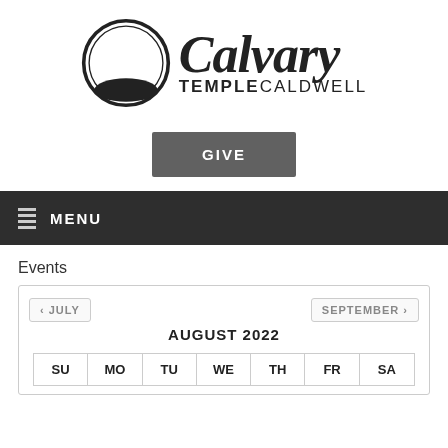[Figure (logo): Calvary Temple Caldwell logo with three crosses on a hill inside a circle, and stylized script 'Calvary' with 'TEMPLE CALDWELL' text]
GIVE
MENU
Events
| SU | MO | TU | WE | TH | FR | SA |
| --- | --- | --- | --- | --- | --- | --- |